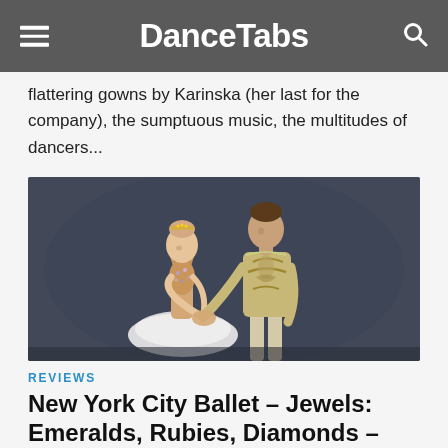DanceTabs
flattering gowns by Karinska (her last for the company), the sumptuous music, the multitudes of dancers...
[Figure (photo): Two ballet dancers in ornate gold and white costumes. A female dancer in a jeweled bodice and white tutu leans her head toward a male dancer in a gold embroidered costume, against a dark background.]
REVIEWS
New York City Ballet – Jewels: Emeralds, Rubies, Diamonds – New York